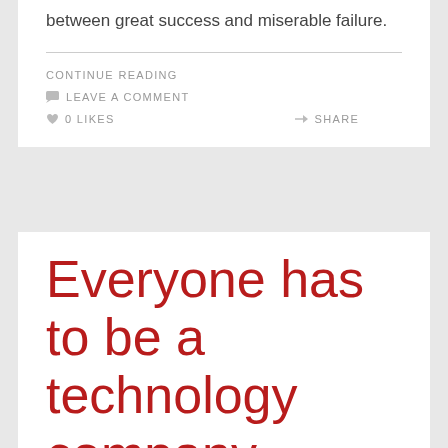between great success and miserable failure.
CONTINUE READING
LEAVE A COMMENT
0 LIKES
SHARE
Everyone has to be a technology company